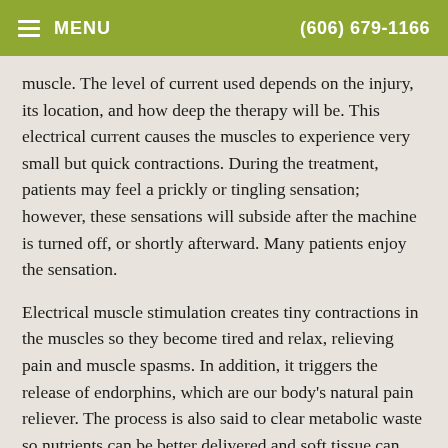MENU  (606) 679-1166
muscle. The level of current used depends on the injury, its location, and how deep the therapy will be. This electrical current causes the muscles to experience very small but quick contractions. During the treatment, patients may feel a prickly or tingling sensation; however, these sensations will subside after the machine is turned off, or shortly afterward. Many patients enjoy the sensation.
Electrical muscle stimulation creates tiny contractions in the muscles so they become tired and relax, relieving pain and muscle spasms. In addition, it triggers the release of endorphins, which are our body's natural pain reliever. The process is also said to clear metabolic waste so nutrients can be better delivered and soft tissue can heal more quickly.
Back muscles and neck muscles are common locations for